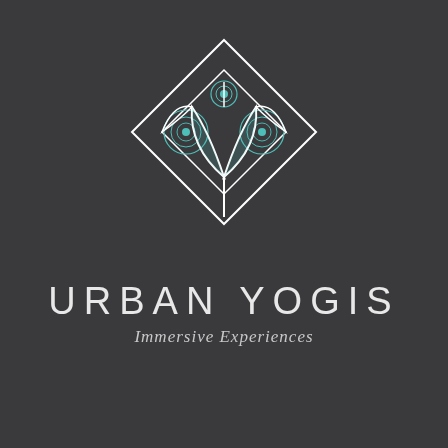[Figure (logo): Urban Yogis geometric logo: a diamond/rhombus shape containing a stylized lotus/tulip with teal mandala circular patterns, rendered in white outline on dark background]
URBAN YOGIS
Immersive Experiences
[Figure (infographic): Three social media icons in grey: Instagram (circle with rounded square and circle inside), Facebook (letter f), YouTube (play button triangle in rounded rectangle)]